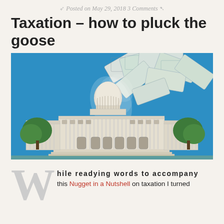Posted on May 29, 2018 3 Comments
Taxation – how to pluck the goose
[Figure (illustration): Illustration of the US Capitol building on a blue background with dollar bills swirling out from the top of the dome like a tornado or whirlwind, with green trees on either side of the building.]
While readying words to accompany this Nugget in a Nutshell on taxation I turned